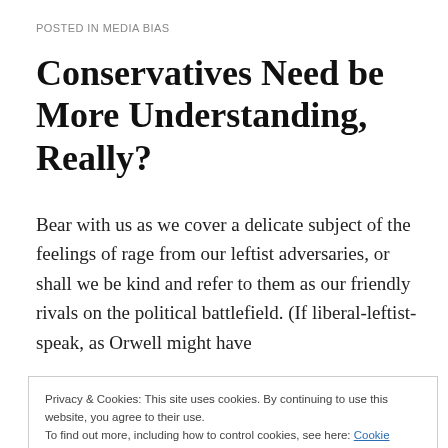POSTED IN MEDIA BIAS
Conservatives Need be More Understanding, Really?
Bear with us as we cover a delicate subject of the feelings of rage from our leftist adversaries, or shall we be kind and refer to them as our friendly rivals on the political battlefield. (If liberal-leftist-speak, as Orwell might have
Privacy & Cookies: This site uses cookies. By continuing to use this website, you agree to their use.
To find out more, including how to control cookies, see here: Cookie Policy
Close and accept
add to political...